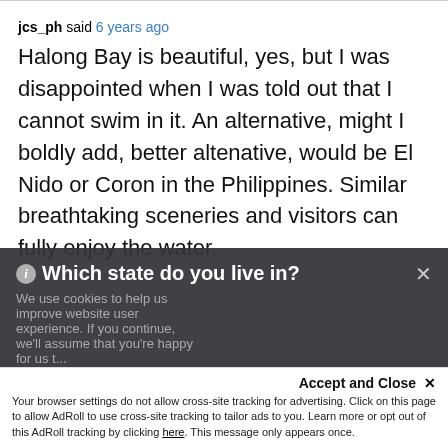jcs_ph said 6 years ago
Halong Bay is beautiful, yes, but I was disappointed when I was told out that I cannot swim in it. An alternative, might I boldly add, better altenative, would be El Nido or Coron in the Philippines. Similar breathtaking sceneries and visitors can fully enjoy the water.
[Figure (screenshot): Dark overlay popup asking 'Which state do you live in?' with a dropdown input, cookie notice text, Submit button, and I accept button. A close X is in the top right.]
Accept and Close ✕
Your browser settings do not allow cross-site tracking for advertising. Click on this page to allow AdRoll to use cross-site tracking to tailor ads to you. Learn more or opt out of this AdRoll tracking by clicking here. This message only appears once.